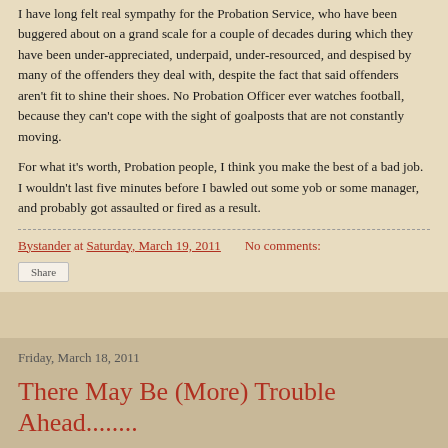I have long felt real sympathy for the Probation Service, who have been buggered about on a grand scale for a couple of decades during which they have been under-appreciated, underpaid, under-resourced, and despised by many of the offenders they deal with, despite the fact that said offenders aren't fit to shine their shoes. No Probation Officer ever watches football, because they can't cope with the sight of goalposts that are not constantly moving.
For what it's worth, Probation people, I think you make the best of a bad job. I wouldn't last five minutes before I bawled out some yob or some manager, and probably got assaulted or fired as a result.
Bystander at Saturday, March 19, 2011   No comments:
Share
Friday, March 18, 2011
There May Be (More) Trouble Ahead........